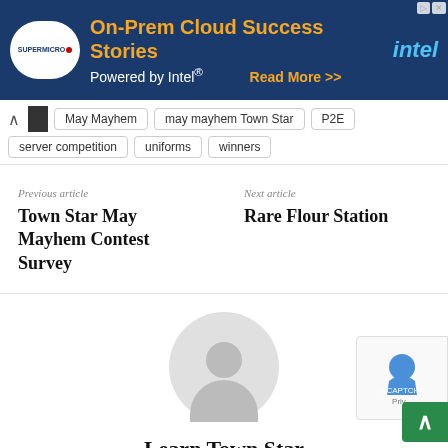[Figure (infographic): Supermicro and Intel advertisement banner: 'On-Prem Cloud Success Stories Powered by Intel® Read More >>' with Supermicro logo on left and Intel logo on right, dark blue background with server imagery]
May Mayhem
may mayhem Town Star
P2E
server competition
uniforms
winners
Previous article
Town Star May Mayhem Contest Survey
Next article
Rare Flour Station
[Figure (illustration): Generic user/author avatar placeholder - grey circle with silhouette of person (head and shoulders)]
Learn Town Star
https://learntownstar.com